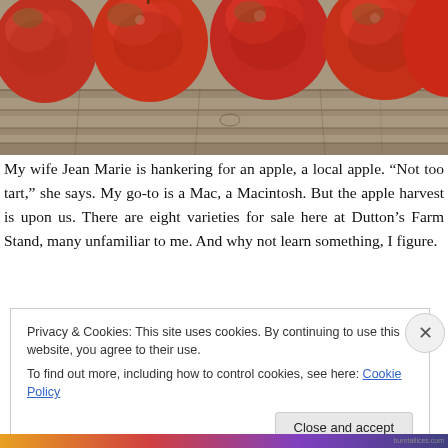[Figure (photo): Several red apples lined up on a weathered wooden surface, photographed from close range. The apples are round, reddish with some green, resting on a rustic wooden board or fence.]
My wife Jean Marie is hankering for an apple, a local apple. “Not too tart,” she says. My go-to is a Mac, a Macintosh. But the apple harvest is upon us. There are eight varieties for sale here at Dutton’s Farm Stand, many unfamiliar to me. And why not learn something, I figure.
Privacy & Cookies: This site uses cookies. By continuing to use this website, you agree to their use.
To find out more, including how to control cookies, see here: Cookie Policy